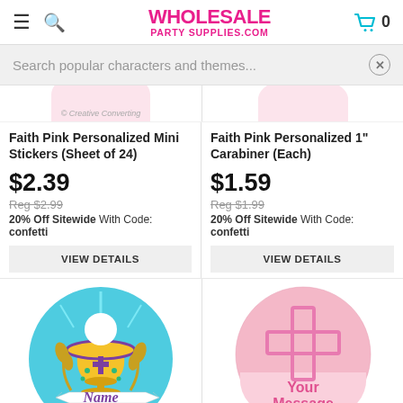WHOLESALE PARTY SUPPLIES.COM
Search popular characters and themes...
Faith Pink Personalized Mini Stickers (Sheet of 24)
$2.39
Reg $2.99
20% Off Sitewide With Code: confetti
VIEW DETAILS
Faith Pink Personalized 1" Carabiner (Each)
$1.59
Reg $1.99
20% Off Sitewide With Code: confetti
VIEW DETAILS
[Figure (illustration): Circular button with gold chalice, purple cross, wheat, teal background and 'Name' text on banner]
[Figure (illustration): Circular pink button with cross design and 'Your Message' text]